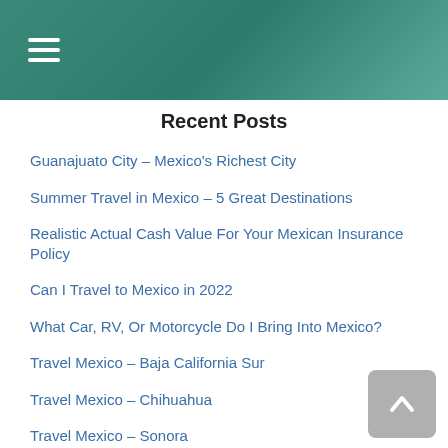Recent Posts
Guanajuato City – Mexico's Richest City
Summer Travel in Mexico – 5 Great Destinations
Realistic Actual Cash Value For Your Mexican Insurance Policy
Can I Travel to Mexico in 2022
What Car, RV, Or Motorcycle Do I Bring Into Mexico?
Travel Mexico – Baja California Sur
Travel Mexico – Chihuahua
Travel Mexico – Sonora
2022 Travel in Mexico
Travel Mexico – Baja California (North)
Do I Really Need Mexican Auto Insurance?
The Secret To Buying the Best Mexican Insurance Policy